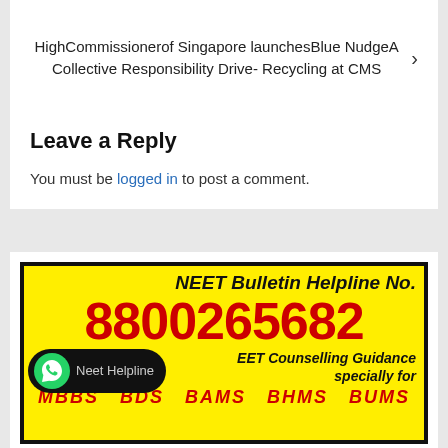HighCommissionerof Singapore launchesBlue NudgeA Collective Responsibility Drive- Recycling at CMS
Leave a Reply
You must be logged in to post a comment.
[Figure (infographic): NEET Bulletin Helpline No. 8800265682 - NEET Counselling Guidance specially for MBBS BDS BAMS BHMS BUMS. Yellow background with black border, WhatsApp Neet Helpline badge.]